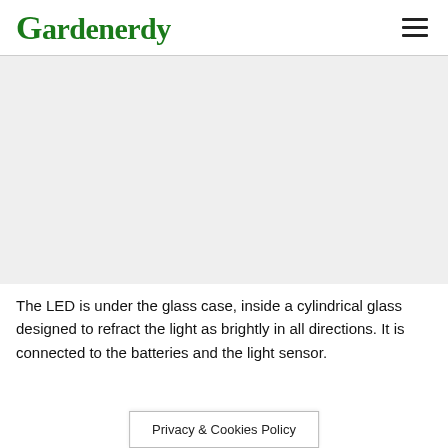Gardenerdy
[Figure (photo): Large blank/placeholder image area below the header navigation bar]
The LED is under the glass case, inside a cylindrical glass designed to refract the light as brightly in all directions. It is connected to the batteries and the light sensor.
Privacy & Cookies Policy